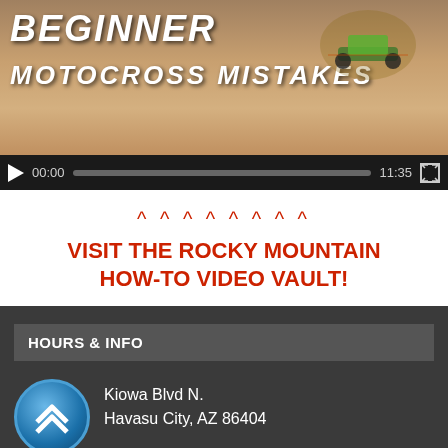[Figure (screenshot): Video player showing BEGINNER MOTOCROSS MISTAKES thumbnail with dirt bike in sand, controls showing 00:00 / 11:35]
^ ^ ^ ^ ^ ^ ^ ^
VISIT THE ROCKY MOUNTAIN HOW-TO VIDEO VAULT!
HOURS & INFO
Kiowa Blvd N.
Lake Havasu City, AZ 86404
435-635-1597
MON-THUR 9AM - 5PM PST
Office hours vary during race week.